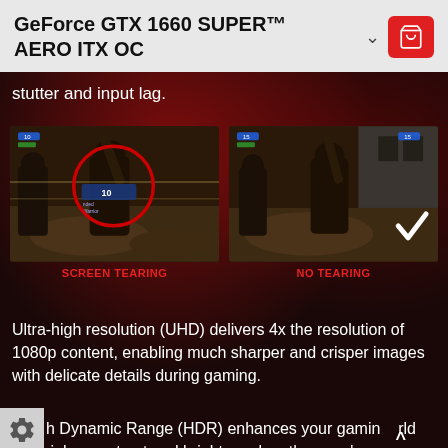GeForce GTX 1660 SUPER™ AERO ITX OC
stutter and input lag.
[Figure (photo): Two side-by-side video game screenshots comparing screen tearing (left, with a red circle highlighting the tearing artifact) vs no tearing (right, with a checkmark). Labeled SCREEN TEARING and NO TEARING in red text beneath.]
SCREEN TEARING    NO TEARING
Ultra-high resolution (UHD) delivers 4x the resolution of 1080p content, enabling much sharper and crisper images with delicate details during gaming.
h Dynamic Range (HDR) enhances your gaming world with higher contrast and brighter colors than you've ever